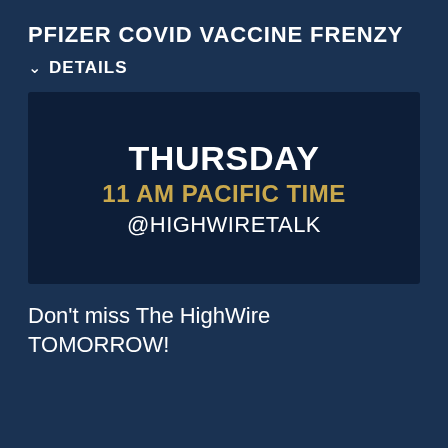PFIZER COVID VACCINE FRENZY
DETAILS
[Figure (screenshot): Dark blue promotional image with text: THURSDAY / 11 AM PACIFIC TIME / @HIGHWIRETALK]
Don't miss The HighWire TOMORROW!